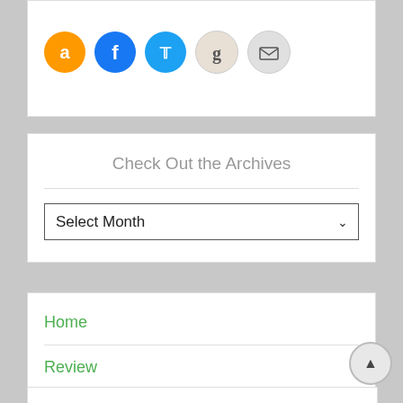[Figure (illustration): Row of social media icons: Amazon (orange), Facebook (blue), Twitter (light blue), Goodreads (beige), Email (gray)]
Check Out the Archives
Select Month (dropdown)
Home
Review
Contact Us